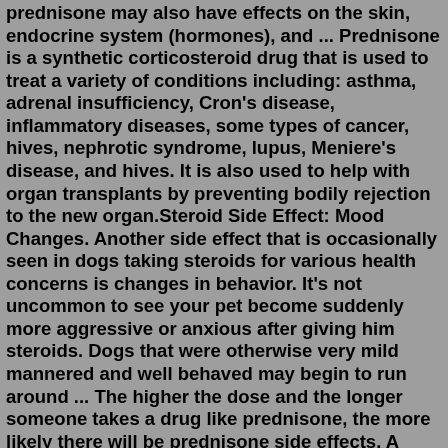prednisone may also have effects on the skin, endocrine system (hormones), and ... Prednisone is a synthetic corticosteroid drug that is used to treat a variety of conditions including: asthma, adrenal insufficiency, Cron's disease, inflammatory diseases, some types of cancer, hives, nephrotic syndrome, lupus, Meniere's disease, and hives. It is also used to help with organ transplants by preventing bodily rejection to the new organ.Steroid Side Effect: Mood Changes. Another side effect that is occasionally seen in dogs taking steroids for various health concerns is changes in behavior. It's not uncommon to see your pet become suddenly more aggressive or anxious after giving him steroids. Dogs that were otherwise very mild mannered and well behaved may begin to run around ... The higher the dose and the longer someone takes a drug like prednisone, the more likely there will be prednisone side effects. A recent study of people with steroid-dependent asthma reported that the majority of patients who had been taking prednisone for years experienced side effects such as